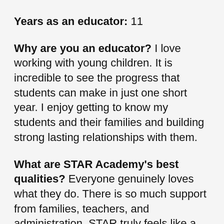Years as an educator: 11
Why are you an educator? I love working with young children. It is incredible to see the progress that students can make in just one short year. I enjoy getting to know my students and their families and building strong lasting relationships with them.
What are STAR Academy's best qualities? Everyone genuinely loves what they do. There is so much support from families, teachers, and administration. STAR truly feels like a community.
Life outside school: I love spin and yoga. I enjoy spending time with my friends and family and traveling al...